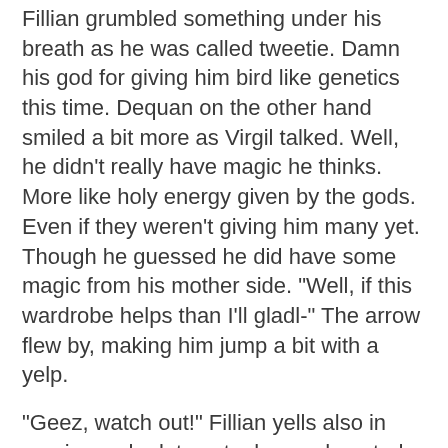Fillian grumbled something under his breath as he was called tweetie. Damn his god for giving him bird like genetics this time. Dequan on the other hand smiled a bit more as Virgil talked. Well, he didn't really have magic he thinks. More like holy energy given by the gods. Even if they weren't giving him many yet. Though he guessed he did have some magic from his mother side. "Well, if this wardrobe helps than I'll gladl-" The arrow flew by, making him jump a bit with a yelp.
"Geez, watch out!" Fillian yells also in suprise as he lets out a long exhausted sigh. These were going to be long months. "Could you even call that an 'aim'? "
Fayline's smile softens a bit as she notices the look in his eyes. He alsways got that soft warm look on his face when he looked at her stomach or thought about their child It was the same as when she was pregnant with Eadlyn. "I think around 4 months. So kinda half way there." She says with a light chuckle.